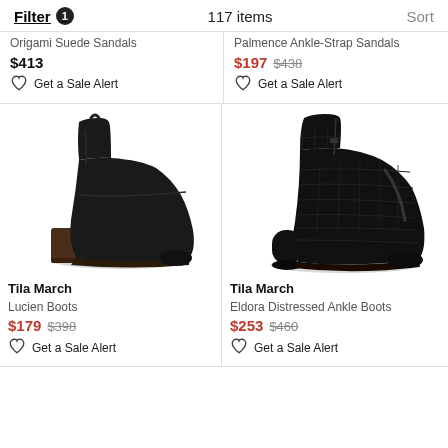Filter 1  117 items  Sort
Origami Suede Sandals
$413
Get a Sale Alert
Palmence Ankle-Strap Sandals
$197 $438
Get a Sale Alert
[Figure (photo): Black suede ankle boot with block heel - Tila March Lucien Boots]
Tila March
Lucien Boots
$179 $398
Get a Sale Alert
[Figure (photo): Black croc-embossed leather ankle boot with block heel - Tila March Eldora Distressed Ankle Boots]
Tila March
Eldora Distressed Ankle Boots
$253 $460
Get a Sale Alert